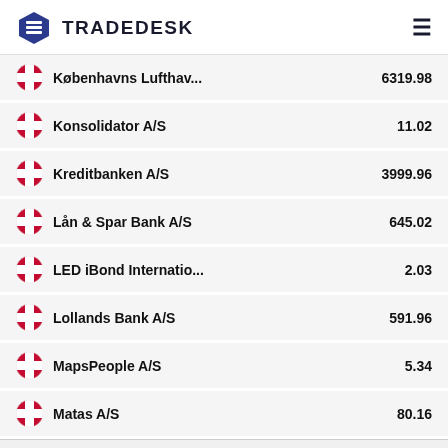TRADEDESK
Københavns Lufthav... 6319.98
Konsolidator A/S 11.02
Kreditbanken A/S 3999.96
Lån & Spar Bank A/S 645.02
LED iBond Internatio... 2.03
Lollands Bank A/S 591.96
MapsPeople A/S 5.34
Matas A/S 80.16
dundo.com A/S 7.9